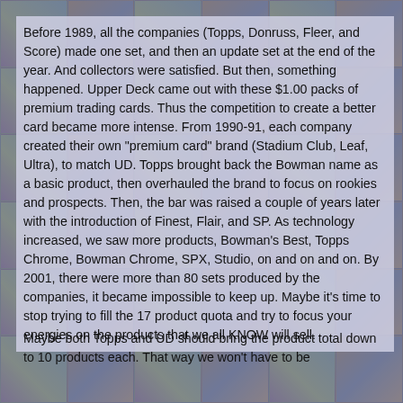Before 1989, all the companies (Topps, Donruss, Fleer, and Score) made one set, and then an update set at the end of the year. And collectors were satisfied. But then, something happened. Upper Deck came out with these $1.00 packs of premium trading cards. Thus the competition to create a better card became more intense. From 1990-91, each company created their own "premium card" brand (Stadium Club, Leaf, Ultra), to match UD. Topps brought back the Bowman name as a basic product, then overhauled the brand to focus on rookies and prospects. Then, the bar was raised a couple of years later with the introduction of Finest, Flair, and SP. As technology increased, we saw more products, Bowman's Best, Topps Chrome, Bowman Chrome, SPX, Studio, on and on and on. By 2001, there were more than 80 sets produced by the companies, it became impossible to keep up. Maybe it's time to stop trying to fill the 17 product quota and try to focus your energies on the products that we all KNOW will sell.
Maybe both Topps and UD should bring the product total down to 10 products each. That way we won't have to be